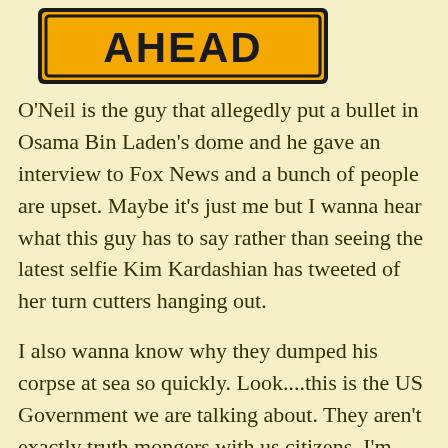[Figure (other): Orange warning sign with black border and bold black text reading 'AHEAD']
O'Neil is the guy that allegedly put a bullet in Osama Bin Laden's dome and he gave an interview to Fox News and a bunch of people are upset.  Maybe it's just me but I wanna hear what this guy has to say rather than seeing the latest selfie Kim Kardashian has tweeted of her turn cutters hanging out.
I also wanna know why they dumped his corpse at sea so quickly.  Look....this is the US Government we are talking about.  They aren't exactly truth mongers with us citizens.  I'm sure we could prop him up and drag him around the US on a mini-tour like